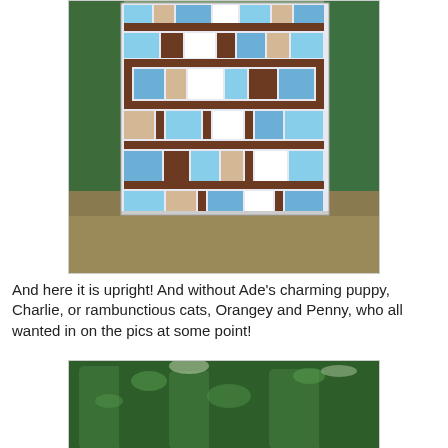[Figure (photo): A blue, white, and brown patchwork quilt displayed upright outdoors on grass, with evergreen trees in the background.]
And here it is upright! And without Ade's charming puppy, Charlie, or rambunctious cats, Orangey and Penny, who all wanted in on the pics at some point!
[Figure (photo): Partial view of dense green evergreen/conifer trees outdoors.]